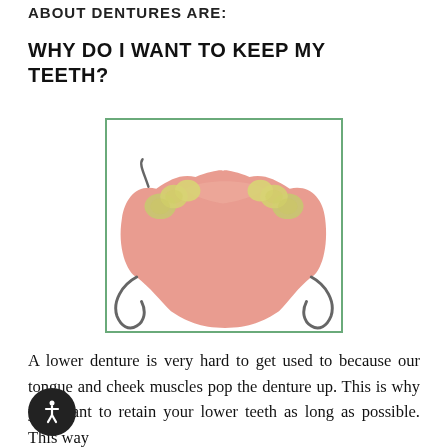ABOUT DENTURES ARE:
WHY DO I WANT TO KEEP MY TEETH?
[Figure (photo): A partial lower denture with pink acrylic base, yellowish artificial teeth on both sides, and metal clasp hooks, photographed against a white background, inside a green-bordered frame.]
A lower denture is very hard to get used to because our tongue and cheek muscles pop the denture up. This is why you want to retain your lower teeth as long as possible. This way